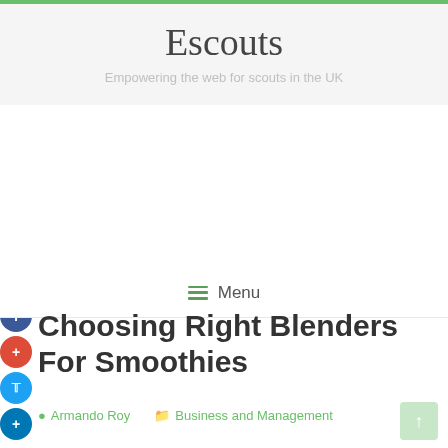Escouts — Empowering the web for scouts in the UK
Menu
Choosing Right Blenders For Smoothies
Armando Roy   Business and Management